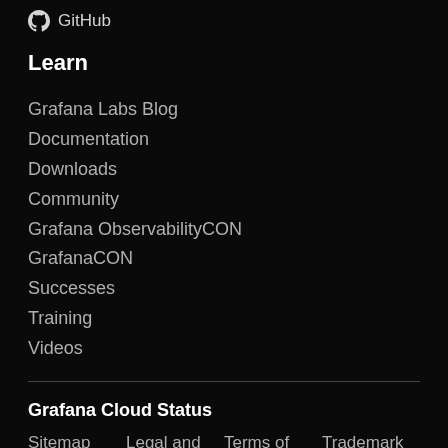GitHub
Learn
Grafana Labs Blog
Documentation
Downloads
Community
Grafana ObservabilityCON
GrafanaCON
Successes
Training
Videos
Grafana Cloud Status
Sitemap   Legal and Security   Terms of Service   Trademark Policy